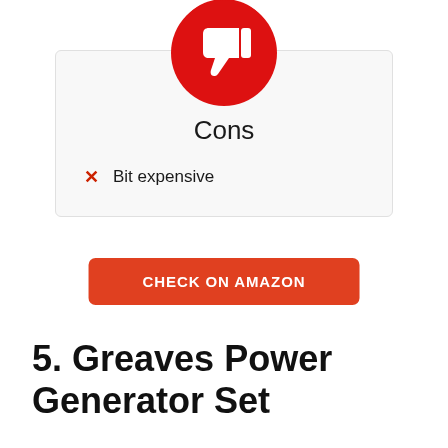Cons
Bit expensive
CHECK ON AMAZON
5. Greaves Power Generator Set